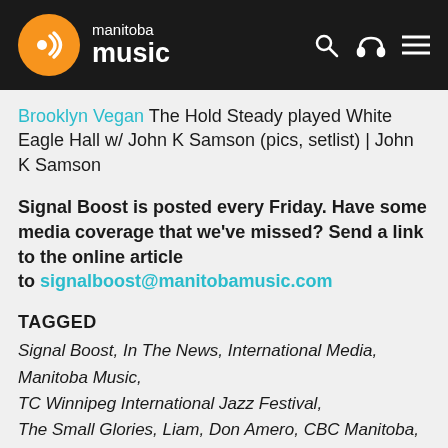manitoba music
Brooklyn Vegan The Hold Steady played White Eagle Hall w/ John K Samson (pics, setlist) | John K Samson
Signal Boost is posted every Friday. Have some media coverage that we’ve missed? Send a link to the online article to signalboost@manitobamusic.com
TAGGED
Signal Boost, In The News, International Media, Manitoba Music, TC Winnipeg International Jazz Festival, The Small Glories, Liam, Don Amero, CBC Manitoba, Chris Park Gaffney, Vince Fontaine, Micah Erenberg